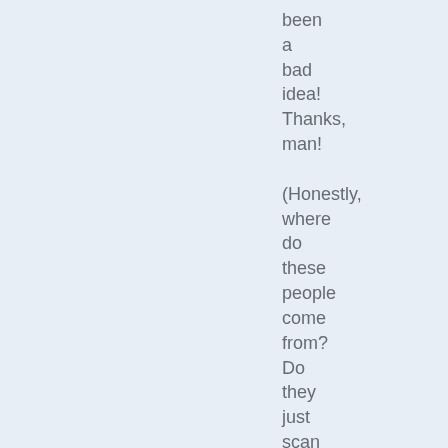been a bad idea! Thanks, man!

(Honestly, where do these people come from? Do they just scan pages for keywords and